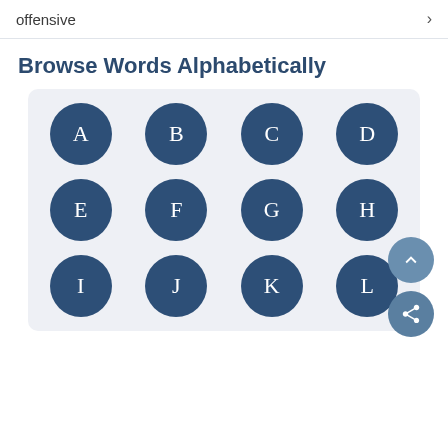offensive >
Browse Words Alphabetically
[Figure (infographic): A 3-row by 4-column grid of dark blue circular letter buttons labeled A through L, with two floating action buttons (scroll up and share) on the right side, inside a light gray rounded panel.]